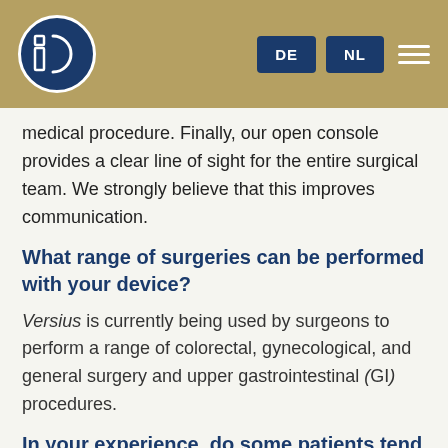IO [logo] DE NL [menu]
medical procedure. Finally, our open console provides a clear line of sight for the entire surgical team. We strongly believe that this improves communication.
What range of surgeries can be performed with your device?
Versius is currently being used by surgeons to perform a range of colorectal, gynecological, and general surgery and upper gastrointestinal (GI) procedures.
In your experience, do some patients tend to be slightly skeptical about a machine taking on such a major role in their